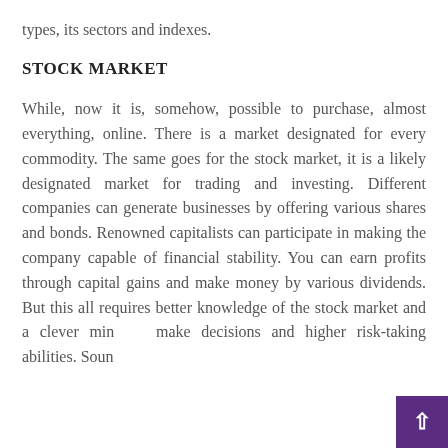types, its sectors and indexes.
STOCK MARKET
While, now it is, somehow, possible to purchase, almost everything, online. There is a market designated for every commodity. The same goes for the stock market, it is a likely designated market for trading and investing. Different companies can generate businesses by offering various shares and bonds. Renowned capitalists can participate in making the company capable of financial stability. You can earn profits through capital gains and make money by various dividends. But this all requires better knowledge of the stock market and a clever mind make decisions and higher risk-taking abilities. Sounds